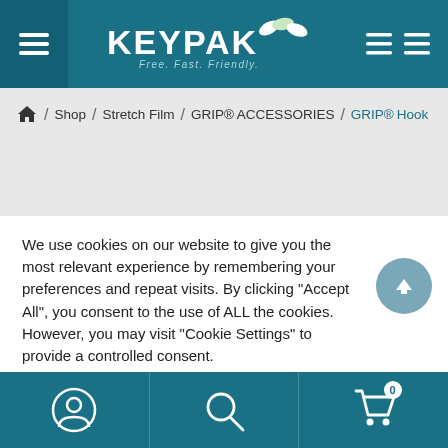KEYPAK — Free. Fast. Friendly. — navigation header
Shop / Stretch Film / GRIP® ACCESSORIES / GRIP® Hook
We use cookies on our website to give you the most relevant experience by remembering your preferences and repeat visits. By clicking "Accept All", you consent to the use of ALL the cookies. However, you may visit "Cookie Settings" to provide a controlled consent.
Bottom navigation bar with account, search, and cart icons